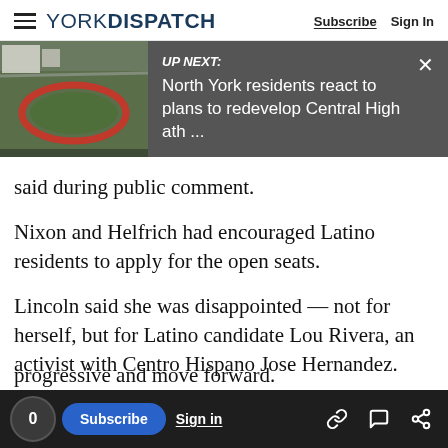YORK DISPATCH
[Figure (screenshot): UP NEXT banner with aerial photo of athletic track and text: North York residents react to plans to redevelop Central High ath ...]
said during public comment.
Nixon and Helfrich had encouraged Latino residents to apply for the open seats.
Lincoln said she was disappointed — not for herself, but for Latino candidate Lou Rivera, an activist with Centro Hispano Jose Hernandez.
She said she respects the hard job of choosing new council members but felt this was...
0  Subscribe  Sign in
progressive and move forward.